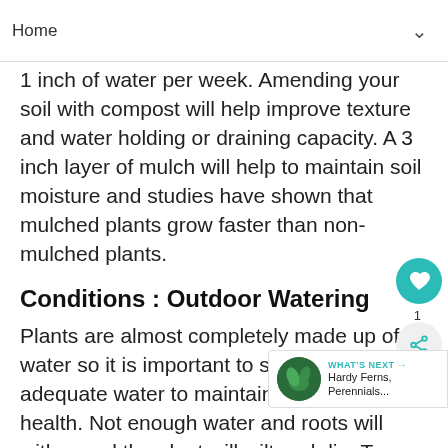Home
1 inch of water per week. Amending your soil with compost will help improve texture and water holding or draining capacity. A 3 inch layer of mulch will help to maintain soil moisture and studies have shown that mulched plants grow faster than non-mulched plants.
Conditions : Outdoor Watering
Plants are almost completely made up of water so it is important to supply them with adequate water to maintain good plant health. Not enough water and roots will wither and the plant will wilt and die. Too much water applied too frequently deprives roots of oxygen leading